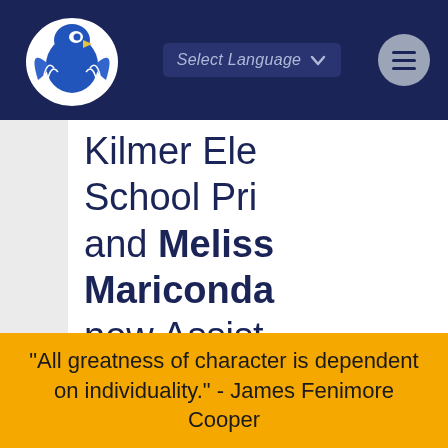[Figure (logo): School mascot logo — blue eagle/hawk on white circular background, positioned in the top-left of the navy header bar]
Select Language  ☰
Kilmer Ele School Pri and Melissa Mariconda new Assista Principal a Elementar
"All greatness of character is dependent on individuality." - James Fenimore Cooper